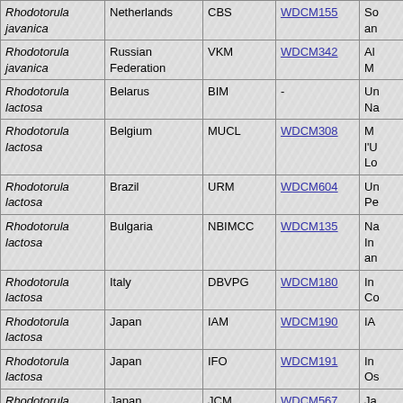| Species | Country | Collection | WDCM | Institution |
| --- | --- | --- | --- | --- |
| Rhodotorula javanica | Netherlands | CBS | WDCM155 | So... an... |
| Rhodotorula javanica | Russian Federation | VKM | WDCM342 | Al... M... |
| Rhodotorula lactosa | Belarus | BIM | - | Un... Na... |
| Rhodotorula lactosa | Belgium | MUCL | WDCM308 | M... l'U... Lo... |
| Rhodotorula lactosa | Brazil | URM | WDCM604 | Un... Pe... |
| Rhodotorula lactosa | Bulgaria | NBIMCC | WDCM135 | Na... In... an... |
| Rhodotorula lactosa | Italy | DBVPG | WDCM180 | In... Co... |
| Rhodotorula lactosa | Japan | IAM | WDCM190 | IA... |
| Rhodotorula lactosa | Japan | IFO | WDCM191 | In... Os... |
| Rhodotorula lactosa | Japan | JCM | WDCM567 | Ja... M... |